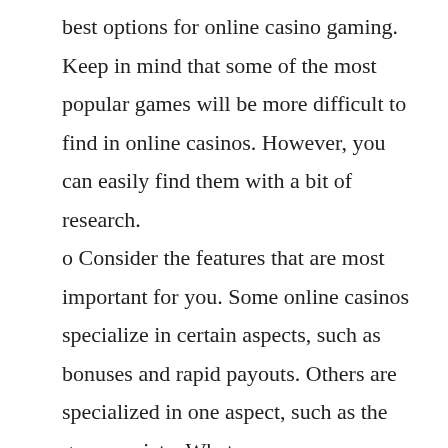best options for online casino gaming. Keep in mind that some of the most popular games will be more difficult to find in online casinos. However, you can easily find them with a bit of research.
o Consider the features that are most important for you. Some online casinos specialize in certain aspects, such as bonuses and rapid payouts. Others are specialized in one aspect, such as the game variety. Whatever your preference, choosing the right online casino can be a difficult task. Below, you'll find a list of the most important features to look for when choosing an online casino. The key to success is to know what to look for in an online casino.
o Consider the deposit and withdrawal methods. When playing online, look for a casino that accepts